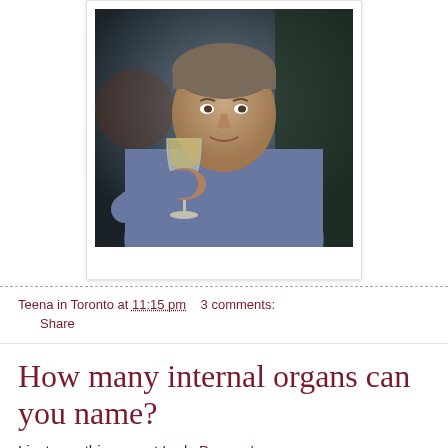[Figure (photo): A middle-aged man holding up a wine glass, wearing a blue fleece pullover. Photo is displayed in a white polaroid-style frame with a shadow border.]
Teena in Toronto at 11:15 pm   3 comments:
Share
How many internal organs can you name?
I just saw this over at Lady Banana's ...